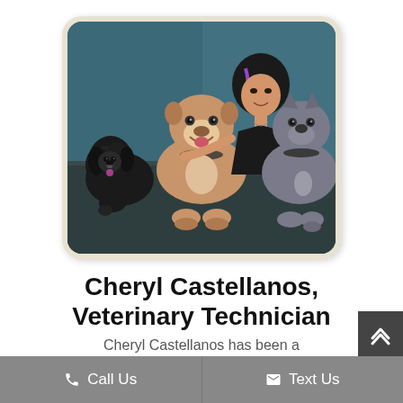[Figure (photo): A woman with dark hair with purple highlights poses with three dogs — a black cocker spaniel on the left, a tan/fawn pit bull in the center, and a gray/blue pit bull on the right. The photo has a dark teal studio backdrop.]
Cheryl Castellanos, Veterinary Technician
Cheryl Castellanos has been a
Call Us   Text Us